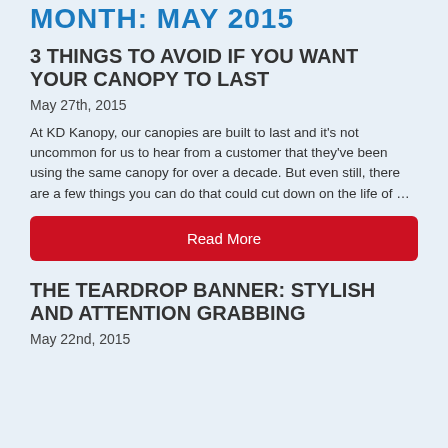Month: May 2015
3 THINGS TO AVOID IF YOU WANT YOUR CANOPY TO LAST
May 27th, 2015
At KD Kanopy, our canopies are built to last and it’s not uncommon for us to hear from a customer that they’ve been using the same canopy for over a decade. But even still, there are a few things you can do that could cut down on the life of …
Read More
THE TEARDROP BANNER: STYLISH AND ATTENTION GRABBING
May 22nd, 2015